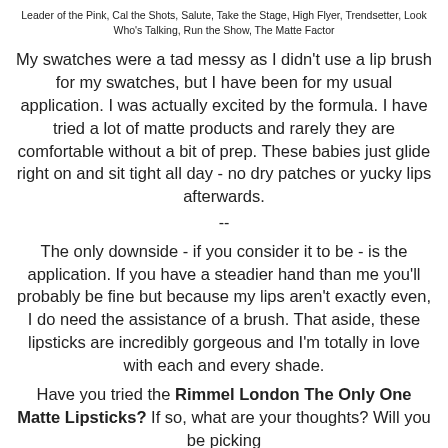Leader of the Pink, Cal the Shots, Salute, Take the Stage, High Flyer, Trendsetter, Look Who's Talking, Run the Show, The Matte Factor
My swatches were a tad messy as I didn't use a lip brush for my swatches, but I have been for my usual application. I was actually excited by the formula. I have tried a lot of matte products and rarely they are comfortable without a bit of prep. These babies just glide right on and sit tight all day - no dry patches or yucky lips afterwards.
--
The only downside - if you consider it to be - is the application. If you have a steadier hand than me you'll probably be fine but because my lips aren't exactly even, I do need the assistance of a brush. That aside, these lipsticks are incredibly gorgeous and I'm totally in love with each and every shade.
Have you tried the Rimmel London The Only One Matte Lipsticks? If so, what are your thoughts? Will you be picking